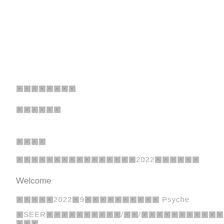□□□□□□□□
□□□□□□
□□□□
□□□□□□□□□□□□□□□□2022□□□□□□
Welcome
□□□□□2022□9□□□□□□□□□□□ Psyche
□SEER□□□□□□□□□□□/□□/□□□□□□□□□□□□□□